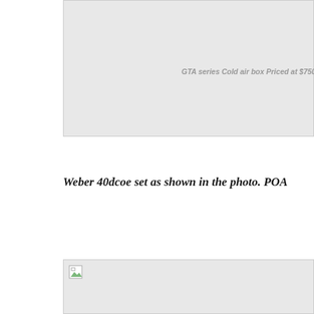[Figure (photo): Image placeholder box with broken image icon and caption: GTA series Cold air box Priced at $750]
GTA series Cold air box Priced at $750
Weber 40dcoe set as shown in the photo. POA
[Figure (photo): Image placeholder box with broken image icon, content not loaded]